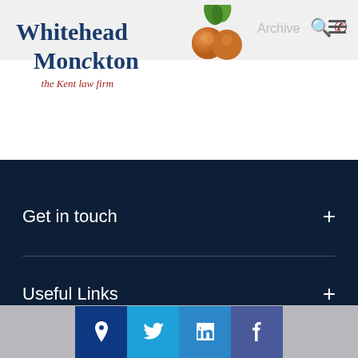[Figure (logo): Whitehead Monckton logo with fruit illustration and tagline 'the Kent law firm']
Get in touch
Useful Links
[Figure (infographic): Social media icons: location/map pin, Twitter, LinkedIn, Facebook]